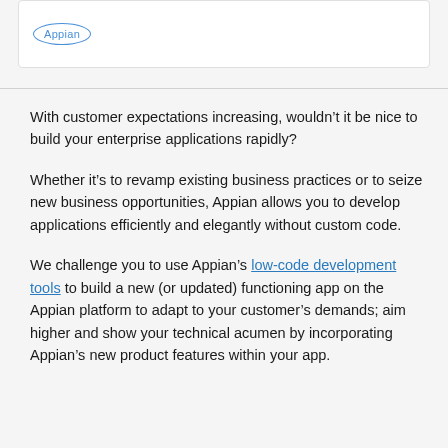[Figure (logo): Appian logo in a rounded circle border]
With customer expectations increasing, wouldn’t it be nice to build your enterprise applications rapidly?
Whether it’s to revamp existing business practices or to seize new business opportunities, Appian allows you to develop applications efficiently and elegantly without custom code.
We challenge you to use Appian’s low-code development tools to build a new (or updated) functioning app on the Appian platform to adapt to your customer’s demands; aim higher and show your technical acumen by incorporating Appian’s new product features within your app.